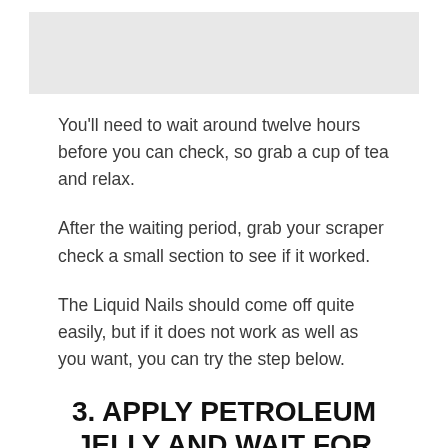[Figure (photo): Image placeholder at top of page]
You'll need to wait around twelve hours before you can check, so grab a cup of tea and relax.
After the waiting period, grab your scraper check a small section to see if it worked.
The Liquid Nails should come off quite easily, but if it does not work as well as you want, you can try the step below.
3. APPLY PETROLEUM JELLY AND WAIT FOR UP TO TWENTY-FOUR HOURS